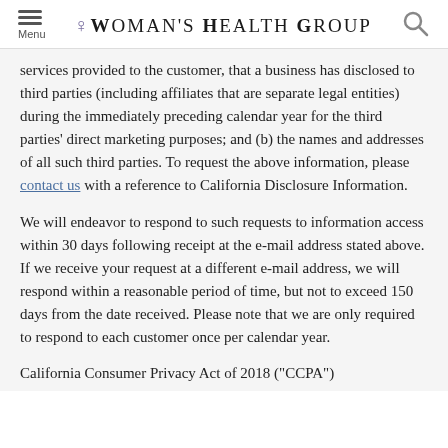Woman's Health Group
services provided to the customer, that a business has disclosed to third parties (including affiliates that are separate legal entities) during the immediately preceding calendar year for the third parties' direct marketing purposes; and (b) the names and addresses of all such third parties. To request the above information, please contact us with a reference to California Disclosure Information.
We will endeavor to respond to such requests to information access within 30 days following receipt at the e-mail address stated above. If we receive your request at a different e-mail address, we will respond within a reasonable period of time, but not to exceed 150 days from the date received. Please note that we are only required to respond to each customer once per calendar year.
California Consumer Privacy Act of 2018 ("CCPA")